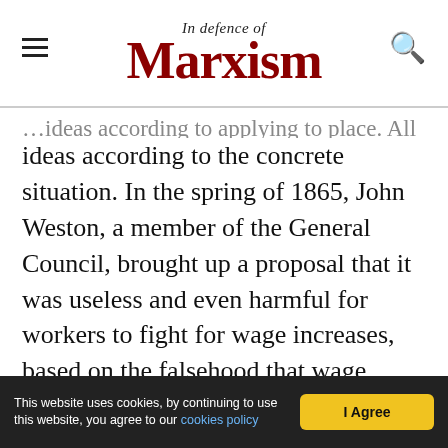In Defence of Marxism
ideas according to the concrete situation. In the spring of 1865, John Weston, a member of the General Council, brought up a proposal that it was useless and even harmful for workers to fight for wage increases, based on the falsehood that wage increases cause price rises. Marx took the opportunity to debate with Weston and to explain his economic theories. In conclusion, Marx proposed the following resolution which elaborated his views on the trade unions to the General Council:
This website uses cookies, by continuing to use this website, you agree to our cookies policy